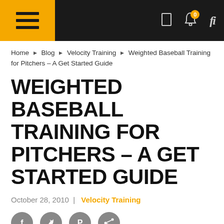Navigation header with hamburger menu and icons
Home > Blog > Velocity Training > Weighted Baseball Training for Pitchers – A Get Started Guide
WEIGHTED BASEBALL TRAINING FOR PITCHERS – A GET STARTED GUIDE
October 28, 2010  |  Velocity Training
[Figure (other): Social share icon buttons: Facebook, Twitter, Pinterest, Share]
Reading Time: 6 minutes
[Figure (photo): Black and white photo of a pitcher, partially visible at bottom of page]